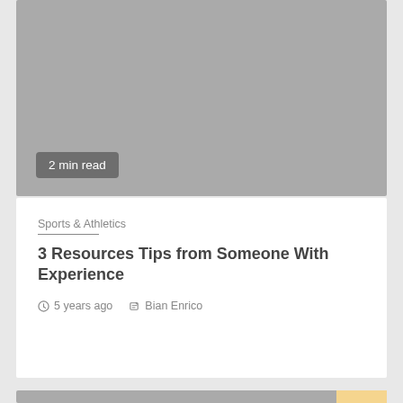[Figure (photo): Gray placeholder image for article card, with '2 min read' badge in bottom left]
2 min read
Sports & Athletics
3 Resources Tips from Someone With Experience
5 years ago   Bian Enrico
[Figure (photo): Gray placeholder image for second article card at bottom, with scroll-to-top button in bottom right]